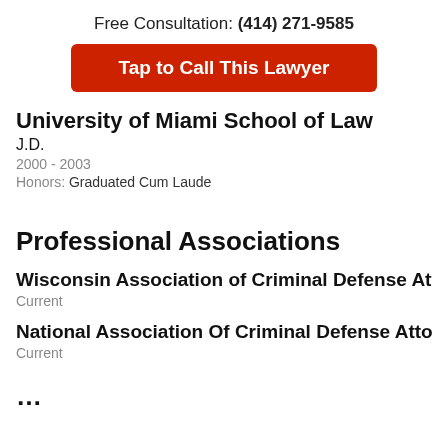Free Consultation: (414) 271-9585
[Figure (other): Red button: Tap to Call This Lawyer]
University of Miami School of Law
J.D.
2000 - 2003
Honors: Graduated Cum Laude
Professional Associations
Wisconsin Association of Criminal Defense Attorneys
Current
National Association Of Criminal Defense Attorneys
Current
…